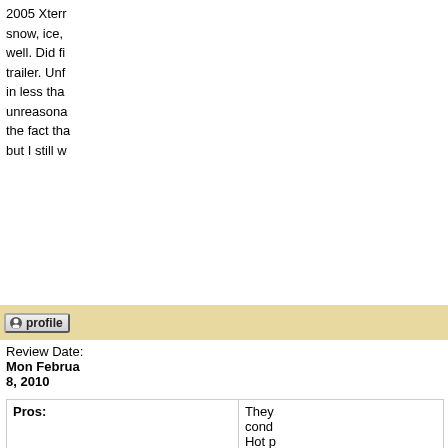[Figure (photo): Gray placeholder image area on the left side of the page]
2005 Xterr snow, ice, well. Did fi trailer. Unf in less tha unreasona the fact tha but I still w
profile
Anonymous
Review Date: Mon February 8, 2010
|  |  |
| --- | --- |
| Pros: | They cond Hot p |
| Cons: |  |
I bought th tire! I have bought 285 is 265/75/R make 265' miles on th round, but new tires f put about 3 ya what no perfect!!! T